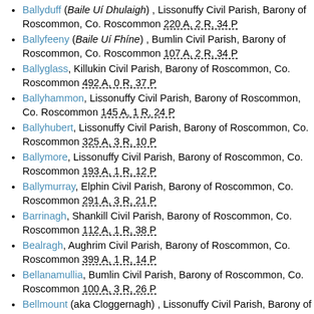Ballyduff (Baile Uí Dhulaigh) , Lissonuffy Civil Parish, Barony of Roscommon, Co. Roscommon 220 A, 2 R, 34 P
Ballyfeeny (Baile Uí Fhíne) , Bumlin Civil Parish, Barony of Roscommon, Co. Roscommon 107 A, 2 R, 34 P
Ballyglass, Killukin Civil Parish, Barony of Roscommon, Co. Roscommon 492 A, 0 R, 37 P
Ballyhammon, Lissonuffy Civil Parish, Barony of Roscommon, Co. Roscommon 145 A, 1 R, 24 P
Ballyhubert, Lissonuffy Civil Parish, Barony of Roscommon, Co. Roscommon 325 A, 3 R, 10 P
Ballymore, Lissonuffy Civil Parish, Barony of Roscommon, Co. Roscommon 193 A, 1 R, 12 P
Ballymurray, Elphin Civil Parish, Barony of Roscommon, Co. Roscommon 291 A, 3 R, 21 P
Barrinagh, Shankill Civil Parish, Barony of Roscommon, Co. Roscommon 112 A, 1 R, 38 P
Bealragh, Aughrim Civil Parish, Barony of Roscommon, Co. Roscommon 399 A, 1 R, 14 P
Bellanamullia, Bumlin Civil Parish, Barony of Roscommon, Co. Roscommon 100 A, 3 R, 26 P
Bellmount (aka Cloggernagh) , Lissonuffy Civil Parish, Barony of Roscommon, Co. Roscommon 50 A, 1 R, 13 P
Bloomfield, Kilcooley Civil Parish, Barony of Roscommon,